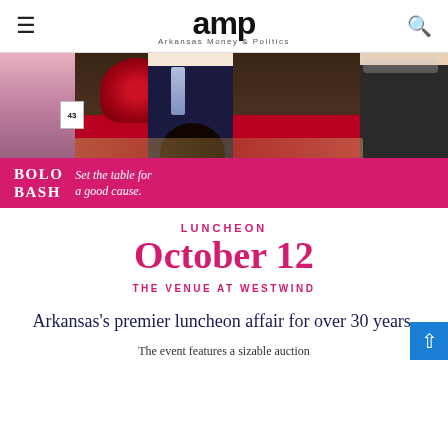amp Arkansas Money & Politics
[Figure (photo): Event photo showing people seated at a luncheon table with red floral centerpieces. Table number 43 visible. A pink banner overlay at the bottom reads BOLO BASH Set the table for a good cause.]
LUNCHEON
October 12
THE VENUE AT WESTWIND
Arkansas's premier luncheon affair for over 30 years.
The event features a sizable auction